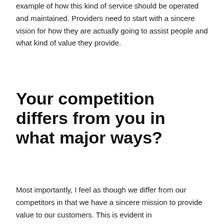example of how this kind of service should be operated and maintained. Providers need to start with a sincere vision for how they are actually going to assist people and what kind of value they provide.
Your competition differs from you in what major ways?
Most importantly, I feel as though we differ from our competitors in that we have a sincere mission to provide value to our customers. This is evident in